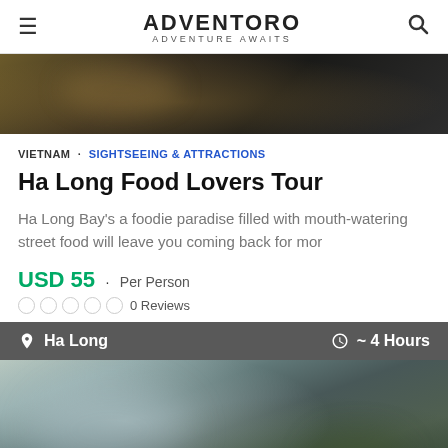ADVENTORO · ADVENTURE AWAITS
[Figure (photo): Blurred dark food/scene photo used as hero image at top of tour listing]
VIETNAM · SIGHTSEEING & ATTRACTIONS
Ha Long Food Lovers Tour
Ha Long Bay's a foodie paradise filled with mouth-watering street food will leave you coming back for mor
USD 55 · Per Person
0 Reviews
Ha Long  ~ 4 Hours
[Figure (photo): Blurred outdoor/nature scene photo at bottom of tour card, showing greenery and sky]